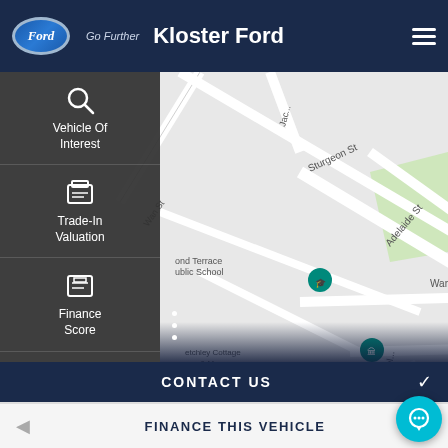Ford Go Further — Kloster Ford
Vehicle Of Interest
Trade-In Valuation
Finance Score
Finance Enquiry
Book A Test Drive
[Figure (map): Google Maps view showing streets near Kloster Ford including Sturgeon St, Adelaide St, Glenelg St, Irrawang St, Warringhi St, Coonanbarra St, with landmarks St Brigid's Primary School, Fenced Dog park, Bletchley Cottage & Museum, and Diamond Terrace Public School]
CONTACT US
FINANCE THIS VEHICLE